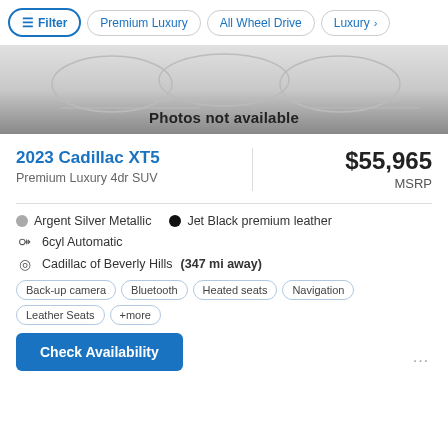Filter | Premium Luxury | All Wheel Drive | Luxury >
[Figure (photo): Car listing placeholder image area with 'Photos not available' text overlay on a grey gradient background]
2023 Cadillac XT5
Premium Luxury 4dr SUV
$55,965 MSRP
Argent Silver Metallic  •  Jet Black premium leather
6cyl Automatic
Cadillac of Beverly Hills (347 mi away)
Back-up camera  Bluetooth  Heated seats  Navigation  Leather Seats  +more
Check Availability